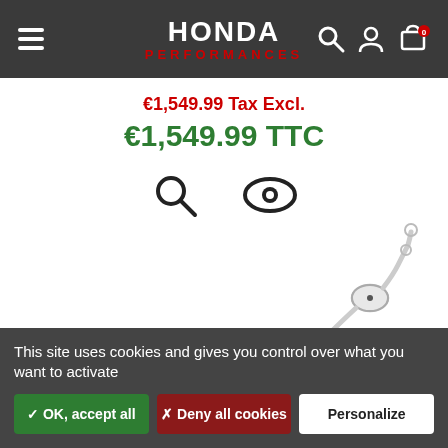HONDA PERFORMANCES — navigation header with menu, logo, search, account, cart icons
€1,549.99 Tax Excl.
€1,549.99 TTC
[Figure (photo): Exhaust pipe / catalytic converter automotive part, silver metallic, shown in lower right of product area]
This site uses cookies and gives you control over what you want to activate
✓ OK, accept all
✗ Deny all cookies
Personalize